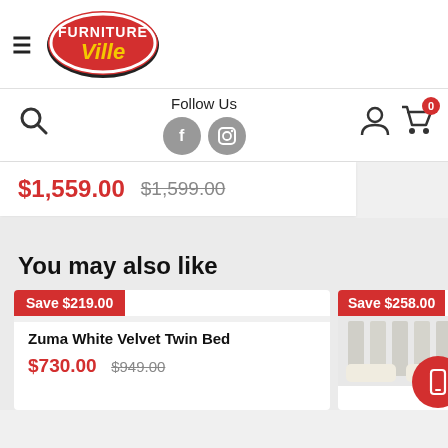[Figure (logo): Furniture Ville logo - red oval with white FURNITURE text and yellow Ville text]
Follow Us
$1,559.00  $1,599.00
You may also like
Save $219.00
Zuma White Velvet Twin Bed
$730.00  $949.00
Save $258.00